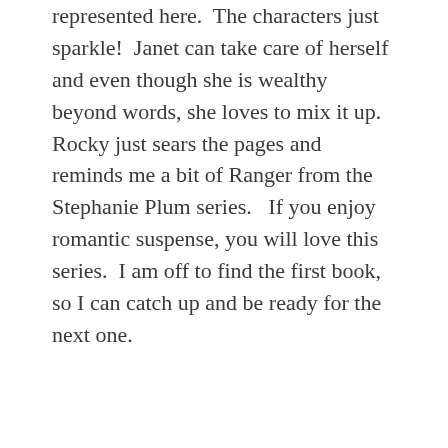represented here.  The characters just sparkle!  Janet can take care of herself and even though she is wealthy beyond words, she loves to mix it up.  Rocky just sears the pages and reminds me a bit of Ranger from the Stephanie Plum series.   If you enjoy romantic suspense, you will love this series.  I am off to find the first book, so I can catch up and be ready for the next one.